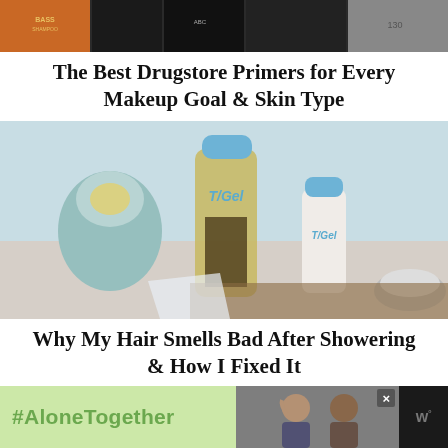[Figure (photo): Product photo showing drugstore primer bottles on a shelf]
The Best Drugstore Primers for Every Makeup Goal & Skin Type
[Figure (photo): Two T/Gel shampoo bottles (one large amber, one small white) with blue caps, on a bathroom counter next to a lit candle]
Why My Hair Smells Bad After Showering & How I Fixed It
[Figure (photo): Three haircare product images in a row: a Love Beauty and Planet shampoo bar, a SheaMoisture Coconut & Hibiscus Curl & Shine Shampoo, and a clear beauty logo]
[Figure (screenshot): Dark advertisement bar at the bottom with #AloneTogether hashtag on green background and a couple waving, with a close button and Wn logo]